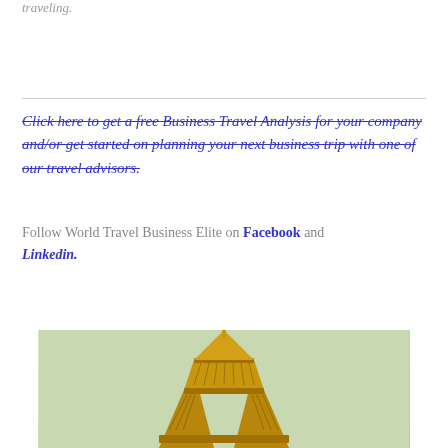traveling.
Click here to get a free Business Travel Analysis for your company and/or get started on planning your next business trip with one of our travel advisors.
Follow World Travel Business Elite on Facebook and Linkedin.
[Figure (photo): Photo of the Eiffel Tower rendered in a golden/metallic style against a light green background]